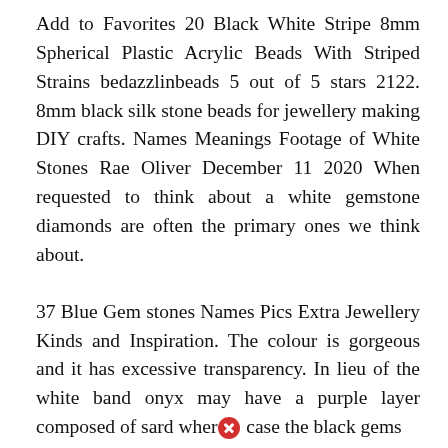Add to Favorites 20 Black White Stripe 8mm Spherical Plastic Acrylic Beads With Striped Strains bedazzlinbeads 5 out of 5 stars 2122. 8mm black silk stone beads for jewellery making DIY crafts. Names Meanings Footage of White Stones Rae Oliver December 11 2020 When requested to think about a white gemstone diamonds are often the primary ones we think about.
37 Blue Gem stones Names Pics Extra Jewellery Kinds and Inspiration. The colour is gorgeous and it has excessive transparency. In lieu of the white band onyx may have a purple layer composed of sard where [X icon] case the black gems